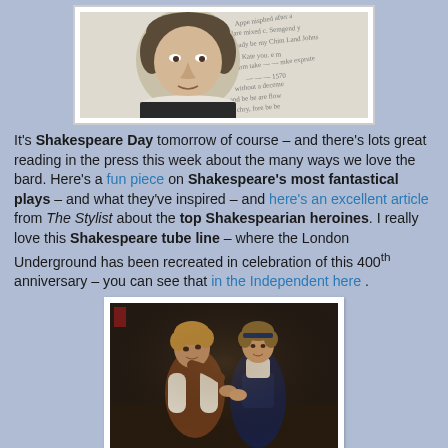[Figure (photo): Black and white engraving/portrait of Shakespeare overlaid with handwritten manuscript text]
It's Shakespeare Day tomorrow of course – and there's lots great reading in the press this week about the many ways we love the bard. Here's a fun piece on Shakespeare's most fantastical plays – and what they've inspired – and here's an excellent article from The Stylist about the top Shakespearian heroines. I really love this Shakespeare tube line – where the London Underground has been recreated in celebration of this 400th anniversary – you can see that in the Independent here .
[Figure (photo): Colour photograph of two actors in period costume performing a Shakespeare play, a man leaning towards a woman]